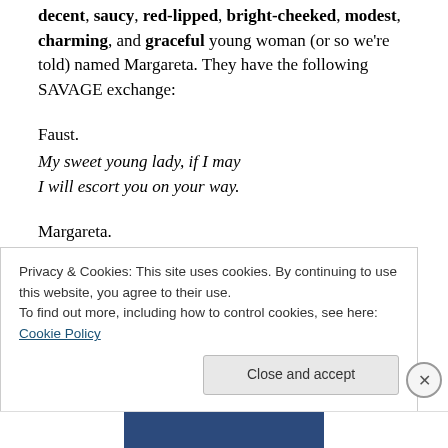decent, saucy, red-lipped, bright-cheeked, modest, charming, and graceful young woman (or so we're told) named Margareta. They have the following SAVAGE exchange:
Faust.
My sweet young lady, if I may
I will escort you on your way.
Margareta.
I'm not a lady and I'm not sweet,
I can get home on my own two feet.
Privacy & Cookies: This site uses cookies. By continuing to use this website, you agree to their use.
To find out more, including how to control cookies, see here: Cookie Policy